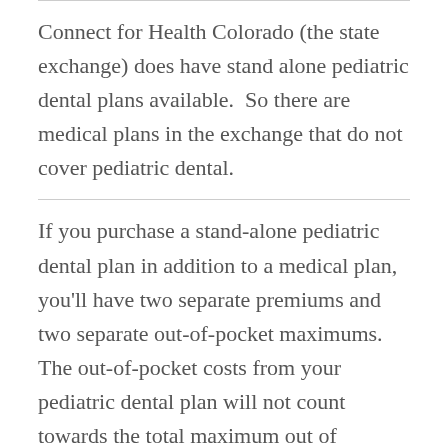Connect for Health Colorado (the state exchange) does have stand alone pediatric dental plans available.  So there are medical plans in the exchange that do not cover pediatric dental.
If you purchase a stand-alone pediatric dental plan in addition to a medical plan, you'll have two separate premiums and two separate out-of-pocket maximums.  The out-of-pocket costs from your pediatric dental plan will not count towards the total maximum out of